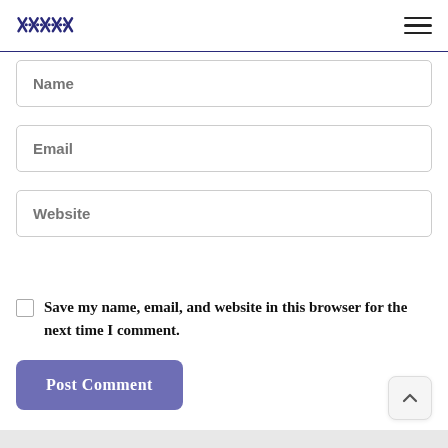Logo and navigation menu
Name
Email
Website
Save my name, email, and website in this browser for the next time I comment.
Post Comment